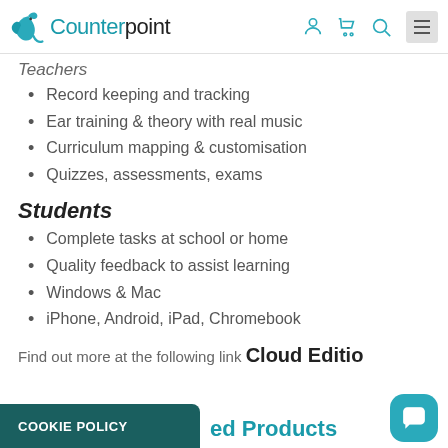Counterpoint
Teachers
Record keeping and tracking
Ear training & theory with real music
Curriculum mapping & customisation
Quizzes, assessments, exams
Students
Complete tasks at school or home
Quality feedback to assist learning
Windows & Mac
iPhone, Android, iPad, Chromebook
Find out more at the following link Cloud Edition
COOKIE POLICY
ed Products